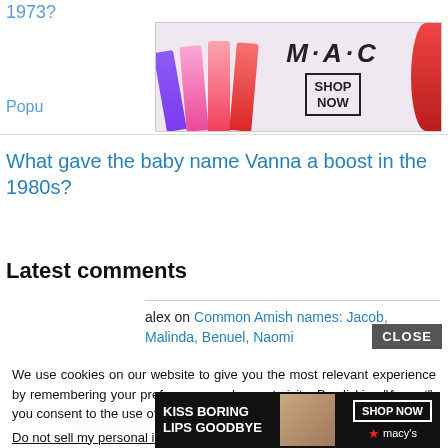1973?
[Figure (photo): MAC Cosmetics advertisement banner showing colorful lipsticks with SHOP NOW button]
Popu
What gave the baby name Vanna a boost in the 1980s?
Latest comments
alex on Common Amish names: Jacob, Malinda, Benuel, Naomi
We use cookies on our website to give you the most relevant experience by remembering your preferences and repeat visits. By clicking “Accept”, you consent to the use of ALL the cookies.
Do not sell my personal information.
[Figure (photo): Macy's advertisement: KISS BORING LIPS GOODBYE with SHOP NOW button and Macy's logo]